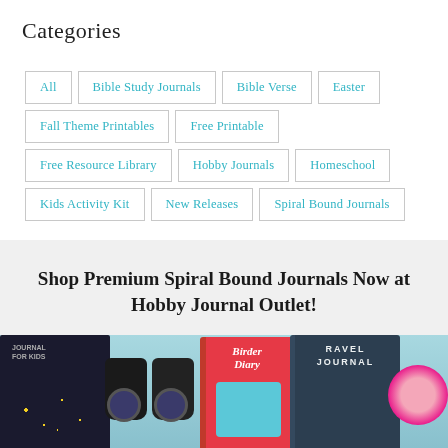Categories
All
Bible Study Journals
Bible Verse
Easter
Fall Theme Printables
Free Printable
Free Resource Library
Hobby Journals
Homeschool
Kids Activity Kit
New Releases
Spiral Bound Journals
Shop Premium Spiral Bound Journals Now at Hobby Journal Outlet!
[Figure (photo): Photo of spiral bound journals including a Birder Diary and Travel Journal, with binoculars and pink yarn on a teal wooden background]